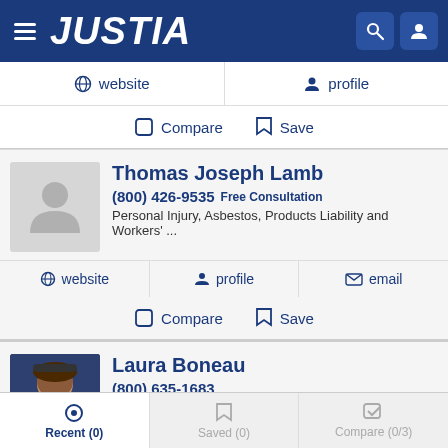JUSTIA
website   profile
Compare   Save
Thomas Joseph Lamb
(800) 426-9535  Free Consultation
Personal Injury, Asbestos, Products Liability and Workers' ...
website   profile   email
Compare   Save
Laura Boneau
(800) 635-1683
Recent (0)   Saved (0)   Compare (0/3)